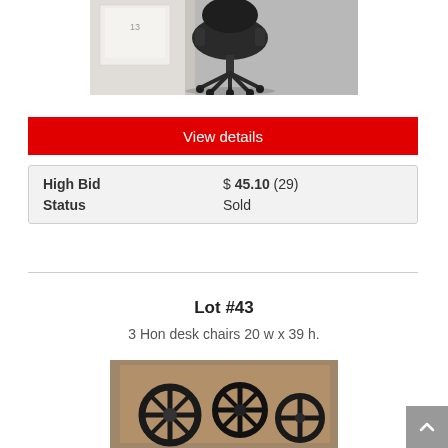[Figure (photo): Photo of a black office desk chair on a concrete floor with white boxes/crates in the background]
View details
| High Bid | $ 45.10 (29) |
| Status | Sold |
Lot #43
3 Hon desk chairs 20 w x 39 h.
[Figure (photo): Photo of multiple black Hon desk chairs stacked or grouped together, showing chair bases and frames]